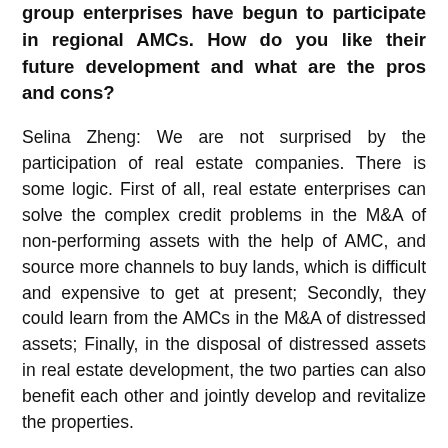group enterprises have begun to participate in regional AMCs. How do you like their future development and what are the pros and cons?
Selina Zheng: We are not surprised by the participation of real estate companies. There is some logic. First of all, real estate enterprises can solve the complex credit problems in the M&A of non-performing assets with the help of AMC, and source more channels to buy lands, which is difficult and expensive to get at present; Secondly, they could learn from the AMCs in the M&A of distressed assets; Finally, in the disposal of distressed assets in real estate development, the two parties can also benefit each other and jointly develop and revitalize the properties.